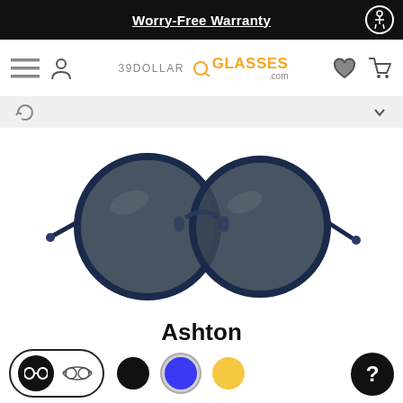Worry-Free Warranty
[Figure (logo): 39DollarGlasses.com logo with navigation icons (hamburger menu, user icon, heart, cart)]
[Figure (photo): Ashton Dark Blue round sunglasses with dark gray lenses and dark blue metal frame, displayed on white background]
Ashton
Dark Blue
$48.95
[Figure (infographic): Bottom bar with view toggle buttons (active sunglasses icon, wireframe glasses icon), three color swatches (black, blue/selected, gold), and a help button]